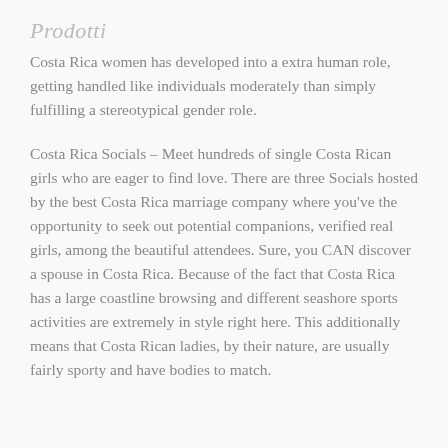Prodotti
Costa Rica women has developed into a extra human role, getting handled like individuals moderately than simply fulfilling a stereotypical gender role.
Costa Rica Socials – Meet hundreds of single Costa Rican girls who are eager to find love. There are three Socials hosted by the best Costa Rica marriage company where you've the opportunity to seek out potential companions, verified real girls, among the beautiful attendees. Sure, you CAN discover a spouse in Costa Rica. Because of the fact that Costa Rica has a large coastline browsing and different seashore sports activities are extremely in style right here. This additionally means that Costa Rican ladies, by their nature, are usually fairly sporty and have bodies to match.